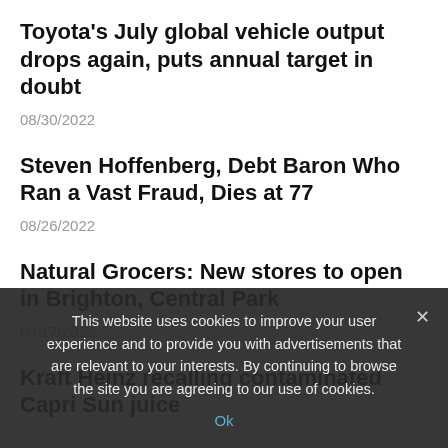Toyota's July global vehicle output drops again, puts annual target in doubt
08/30/2022
Steven Hoffenberg, Debt Baron Who Ran a Vast Fraud, Dies at 77
08/26/2022
Natural Grocers: New stores to open in Brighton, Central Park
08/17/2022
Kraft Heinz recalling contaminated Capri Sun juice
This website uses cookies to improve your user experience and to provide you with advertisements that are relevant to your interests. By continuing to browse the site you are agreeing to our use of cookies.
Ok